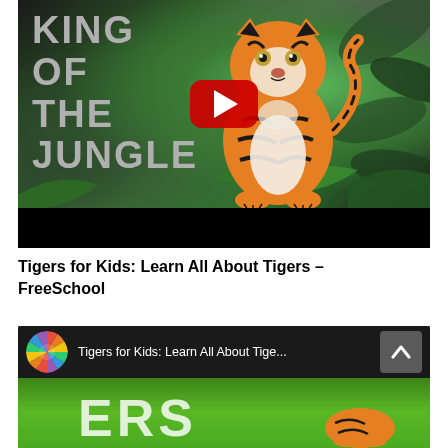[Figure (screenshot): YouTube video thumbnail showing a tiger illustration on a dark jungle background with colorful leaves and plants. Text 'KING OF THE JUNGLE' in large gray letters on the left. A red YouTube play button is centered on the image. Black bar at bottom.]
Tigers for Kids: Learn All About Tigers – FreeSchool
[Figure (screenshot): YouTube video thumbnail for 'Tigers for Kids: Learn All About Tigers' by FreeSchool. Shows a colorful pencil icon, video title text, and a scroll-to-top button. Background shows green grass with a tiger visible at bottom right and large white 'ERS' text.]